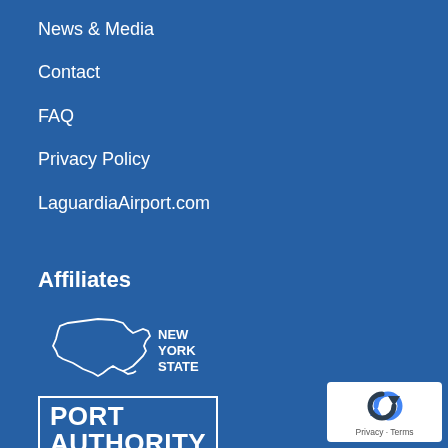News & Media
Contact
FAQ
Privacy Policy
LaguardiaAirport.com
Affiliates
[Figure (logo): New York State outline logo with text NEW YORK STATE]
[Figure (logo): Port Authority NY NJ logo in white text with white border box]
[Figure (logo): reCAPTCHA badge with Privacy and Terms links]